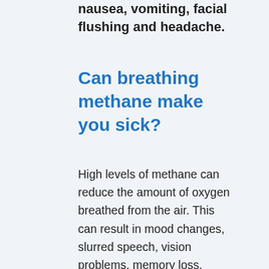nausea, vomiting, facial flushing and headache.
Can breathing methane make you sick?
High levels of methane can reduce the amount of oxygen breathed from the air. This can result in mood changes, slurred speech, vision problems, memory loss, nausea, vomiting, facial flushing and headache. In severe cases, there may be changes in breathing and heart rate, balance problems, numbness, and unconsciousness.